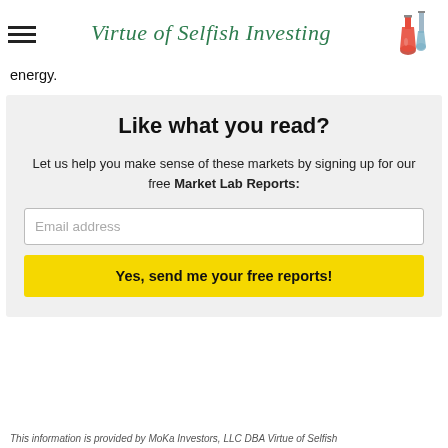Virtue of Selfish Investing
energy.
Like what you read?
Let us help you make sense of these markets by signing up for our free Market Lab Reports:
This information is provided by MoKa Investors, LLC DBA Virtue of Selfish